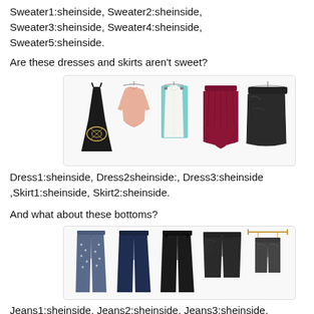Sweater1:sheinside, Sweater2:sheinside, Sweater3:sheinside, Sweater4:sheinside, Sweater5:sheinside.
Are these dresses and skirts aren't sweet?
[Figure (photo): Five clothing items: a black embroidered dress, a peach/pink long-sleeve top, a white sleeveless top, a burgundy pleated skirt, and a black leather-look skirt.]
Dress1:sheinside, Dress2sheinside:, Dress3:sheinside ,Skirt1:sheinside, Skirt2:sheinside.
And what about these bottoms?
[Figure (photo): Five bottom clothing items: patterned leggings, dark navy jeans, black jeans, dark leather-look shorts, and lighter leather-look shorts on a hanger.]
Jeans1:sheinside, Jeans2:sheinside, Jeans3:sheinside, Short1:sheinside, Short2:sheinside.